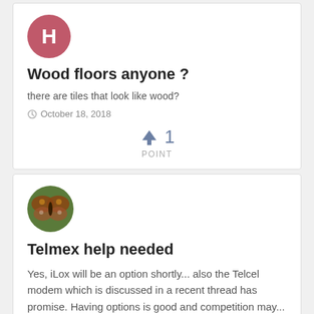[Figure (illustration): Pink circle avatar with white letter H]
Wood floors anyone ?
there are tiles that look like wood?
October 18, 2018
1
POINT
[Figure (photo): Circular photo of a butterfly on a green background]
Telmex help needed
Yes, iLox will be an option shortly... also the Telcel modem which is discussed in a recent thread has promise. Having options is good and competition may...